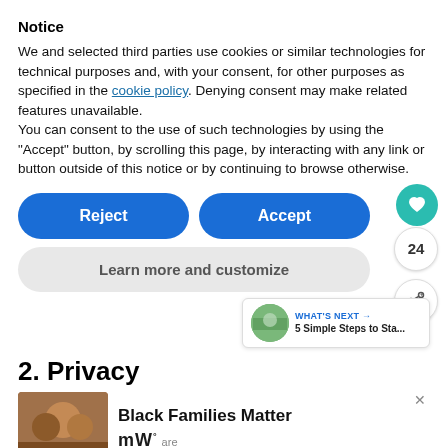Notice
We and selected third parties use cookies or similar technologies for technical purposes and, with your consent, for other purposes as specified in the cookie policy. Denying consent may make related features unavailable.
You can consent to the use of such technologies by using the “Accept” button, by scrolling this page, by interacting with any link or button outside of this notice or by continuing to browse otherwise.
[Figure (screenshot): Reject and Accept buttons (blue rounded), Learn more and customize button (gray rounded), heart badge icon, count badge showing 24, share badge icon, and What's Next panel showing 5 Simple Steps to Sta...]
2. Privacy
[Figure (photo): Photo of smiling people, partially visible]
[Figure (infographic): Advertisement banner: close X button, Black Families Matter text in bold, logo with dots superscript, and 'are' text]